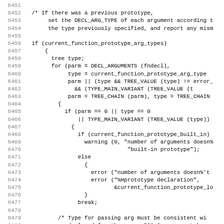Source code listing lines 6451-6482 showing C code for prototype argument type checking